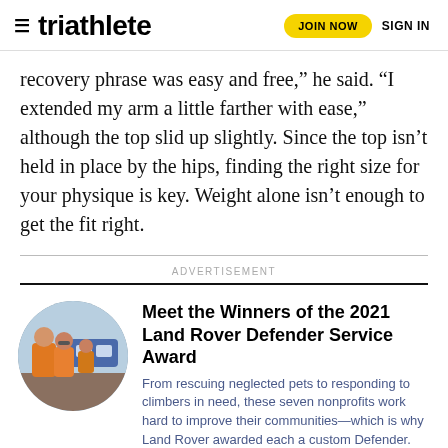triathlete | JOIN NOW | SIGN IN
recovery phrase was easy and free,” he said. “I extended my arm a little farther with ease,” although the top slid up slightly. Since the top isn’t held in place by the hips, finding the right size for your physique is key. Weight alone isn’t enough to get the fit right.
ADVERTISEMENT
Meet the Winners of the 2021 Land Rover Defender Service Award
[Figure (photo): Circular photo of people wearing orange jackets outdoors near a vehicle]
From rescuing neglected pets to responding to climbers in need, these seven nonprofits work hard to improve their communities—which is why Land Rover awarded each a custom Defender. Meet the winners, then nominate your own favorite non-profit for this year’s award.
MEET NOW →